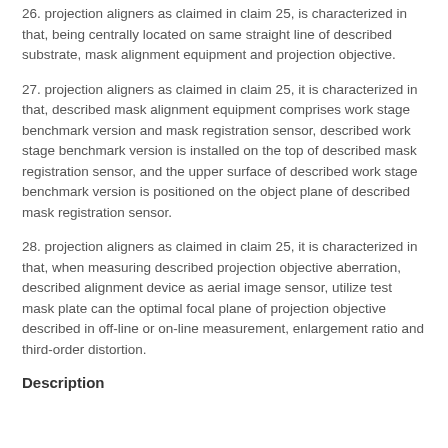26. projection aligners as claimed in claim 25, is characterized in that, being centrally located on same straight line of described substrate, mask alignment equipment and projection objective.
27. projection aligners as claimed in claim 25, it is characterized in that, described mask alignment equipment comprises work stage benchmark version and mask registration sensor, described work stage benchmark version is installed on the top of described mask registration sensor, and the upper surface of described work stage benchmark version is positioned on the object plane of described mask registration sensor.
28. projection aligners as claimed in claim 25, it is characterized in that, when measuring described projection objective aberration, described alignment device as aerial image sensor, utilize test mask plate can the optimal focal plane of projection objective described in off-line or on-line measurement, enlargement ratio and third-order distortion.
Description